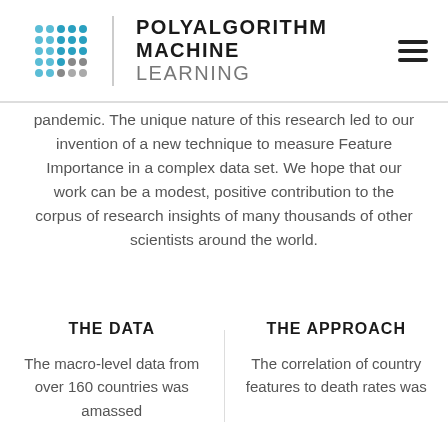POLYALGORITHM MACHINE LEARNING
pandemic. The unique nature of this research led to our invention of a new technique to measure Feature Importance in a complex data set. We hope that our work can be a modest, positive contribution to the corpus of research insights of many thousands of other scientists around the world.
THE DATA
THE APPROACH
The macro-level data from over 160 countries was amassed
The correlation of country features to death rates was